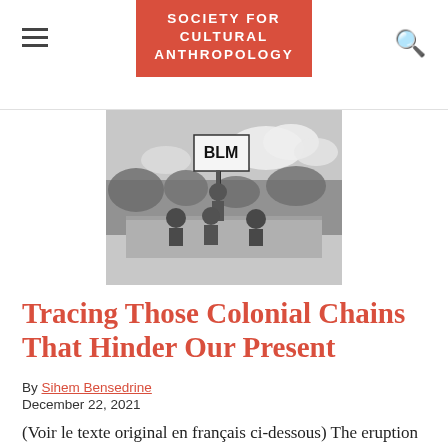SOCIETY FOR CULTURAL ANTHROPOLOGY
[Figure (photo): Black and white photograph of a protest scene with a person holding a BLM (Black Lives Matter) sign above a wall, with people below and clouds in the background.]
Tracing Those Colonial Chains That Hinder Our Present
By Sihem Bensedrine
December 22, 2021
(Voir le texte original en français ci-dessous) The eruption of the Black Lives Matter movement into the